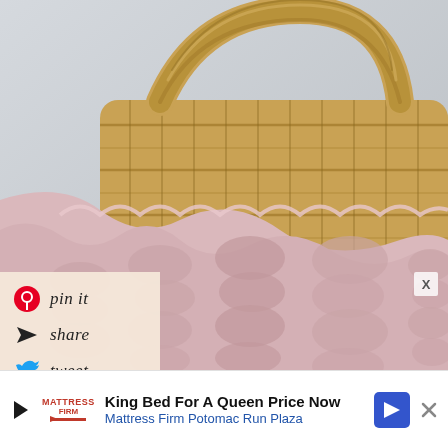[Figure (photo): Close-up photo of a pink chunky cable-knit blanket draped over a wicker basket against a light gray wall background]
[Figure (infographic): Social sharing buttons overlay on cream/beige background: Pinterest pin it, Share (paper plane icon), Tweet (Twitter bird icon), with handwritten-style italic text labels]
[Figure (infographic): Advertisement bar at bottom: Mattress Firm ad with play icon, Mattress Firm logo, headline 'King Bed For A Queen Price Now', subtext 'Mattress Firm Potomac Run Plaza', blue navigation arrow icon, and X close icon]